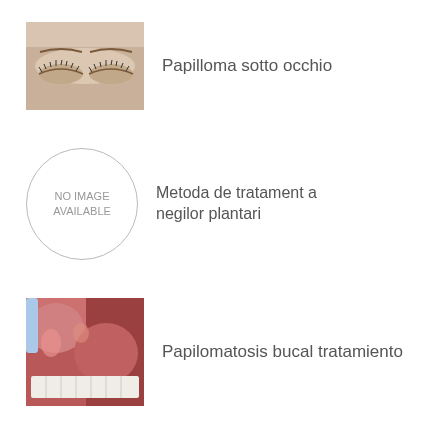[Figure (photo): Close-up photo of human eyes/eyelids area showing closed eyes with eyelashes]
Papilloma sotto occhio
[Figure (other): No image available placeholder circle]
Metoda de tratament a negilor plantari
[Figure (photo): Close-up photo of oral/mouth area showing gum tissue and teeth, papilomatosis]
Papilomatosis bucal tratamiento